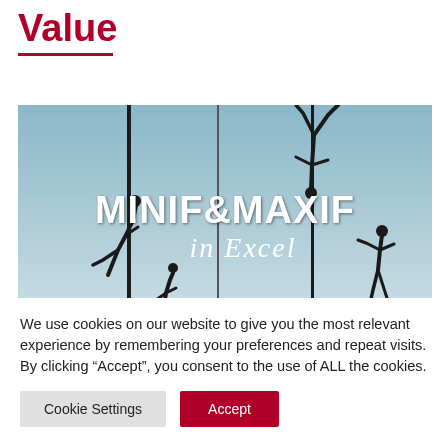Value
[Figure (photo): A banner image showing silhouettes of gymnasts/acrobats performing pole moves against a blue-grey sky. Text overlay reads 'MINIF&MAXIF in Excel' in bold white letters.]
We use cookies on our website to give you the most relevant experience by remembering your preferences and repeat visits. By clicking “Accept”, you consent to the use of ALL the cookies.
Cookie Settings | Accept